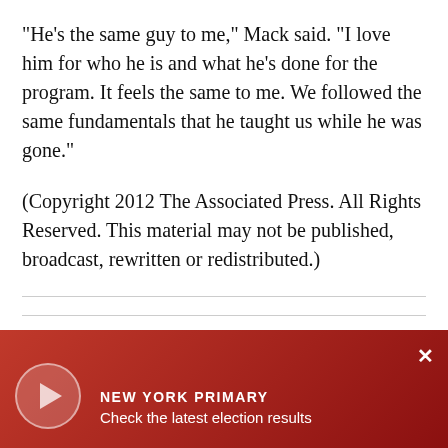"He's the same guy to me," Mack said. "I love him for who he is and what he's done for the program. It feels the same to me. We followed the same fundamentals that he taught us while he was gone."
(Copyright 2012 The Associated Press. All Rights Reserved. This material may not be published, broadcast, rewritten or redistributed.)
In: National Collegiate Athletic Association
[Figure (other): Red gradient banner at bottom of page showing a video player button and text 'NEW YORK PRIMARY - Check the latest election results' with a close (×) button]